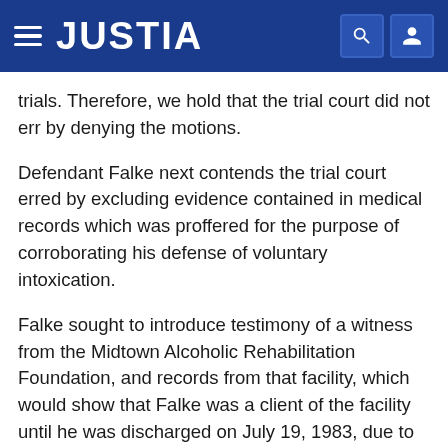JUSTIA
trials. Therefore, we hold that the trial court did not err by denying the motions.
Defendant Falke next contends the trial court erred by excluding evidence contained in medical records which was proffered for the purpose of corroborating his defense of voluntary intoxication.
Falke sought to introduce testimony of a witness from the Midtown Alcoholic Rehabilitation Foundation, and records from that facility, which would show that Falke was a client of the facility until he was discharged on July 19, 1983, due to his being intoxicated. The records would have indicated that Falke had previously admitted use of "acid, Jack Daniels, pot and coke." His abuse began at the age of eleven. The date of his last use was May 17, 1983, and at that point in time he was put in the Osawatomie State Hospital and from there transferred to Midtown